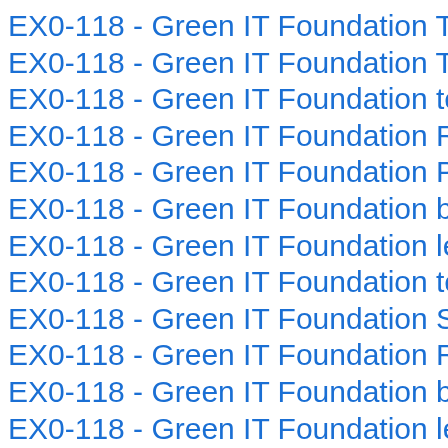EX0-118 - Green IT Foundation Test Prep
EX0-118 - Green IT Foundation Test Prep
EX0-118 - Green IT Foundation test sylla
EX0-118 - Green IT Foundation Real test
EX0-118 - Green IT Foundation Practice
EX0-118 - Green IT Foundation braindum
EX0-118 - Green IT Foundation learning
EX0-118 - Green IT Foundation techniqu
EX0-118 - Green IT Foundation Study Gr
EX0-118 - Green IT Foundation Real test
EX0-118 - Green IT Foundation braindum
EX0-118 - Green IT Foundation learn
EX0-118 - Green IT Foundation Questio